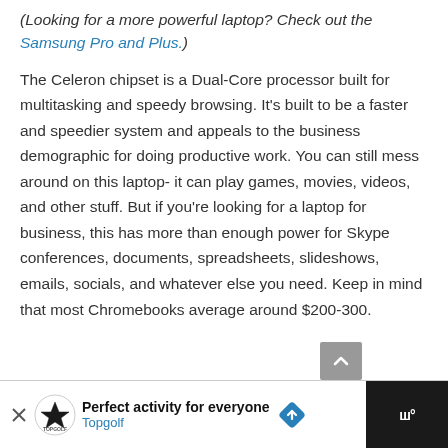(Looking for a more powerful laptop? Check out the Samsung Pro and Plus.)
The Celeron chipset is a Dual-Core processor built for multitasking and speedy browsing. It’s built to be a faster and speedier system and appeals to the business demographic for doing productive work. You can still mess around on this laptop- it can play games, movies, videos, and other stuff. But if you’re looking for a laptop for business, this has more than enough power for Skype conferences, documents, spreadsheets, slideshows, emails, socials, and whatever else you need. Keep in mind that most Chromebooks average around $200-300.
[Figure (other): Advertisement bar at bottom: Topgolf ad with logo, headline 'Perfect activity for everyone', subline 'Topgolf', a blue diamond navigation icon, and a dark panel on the right showing 'ww°' icon.]